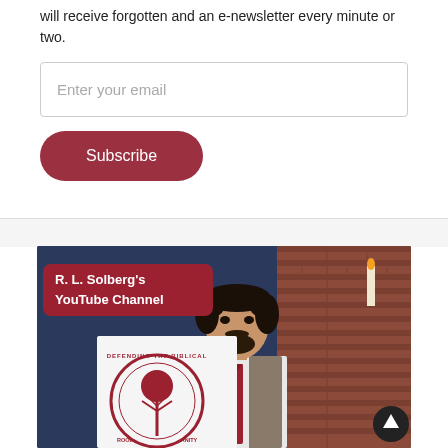will receive forgotten and an e-newsletter every minute or two.
[Figure (screenshot): Email input field with placeholder text 'Enter your email' and a dark red rounded Subscribe button below it]
[Figure (photo): Photo of R. L. Solberg, a man with dark curly hair and beard wearing a grey vest and red tie, standing in front of a sign reading 'Defending the Biblical Roots of Humanity'. A red banner overlay reads 'R. L. Solberg's YouTube Channel'.]